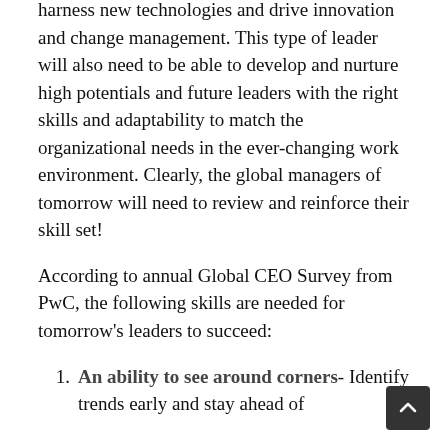harness new technologies and drive innovation and change management. This type of leader will also need to be able to develop and nurture high potentials and future leaders with the right skills and adaptability to match the organizational needs in the ever-changing work environment. Clearly, the global managers of tomorrow will need to review and reinforce their skill set!
According to annual Global CEO Survey from PwC, the following skills are needed for tomorrow's leaders to succeed:
An ability to see around corners- Identify trends early and stay ahead of